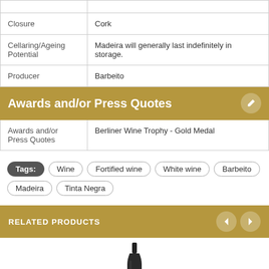| Field | Value |
| --- | --- |
| Closure | Cork |
| Cellaring/Ageing Potential | Madeira will generally last indefinitely in storage. |
| Producer | Barbeito |
| Awards and/or Press Quotes | Berliner Wine Trophy - Gold Medal |
Tags: Wine  Fortified wine  White wine  Barbeito  Madeira  Tinta Negra
RELATED PRODUCTS
[Figure (photo): Partial view of a wine bottle neck and top, centered at the bottom of the page.]